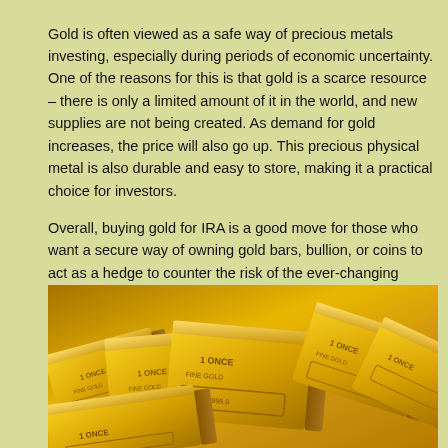Gold is often viewed as a safe way of precious metals investing, especially during periods of economic uncertainty. One of the reasons for this is that gold is a scarce resource – there is only a limited amount of it in the world, and new supplies are not being created. As demand for gold increases, the price will also go up. This precious physical metal is also durable and easy to store, making it a practical choice for investors.
Overall, buying gold for IRA is a good move for those who want a secure way of owning gold bars, bullion, or coins to act as a hedge to counter the risk of the ever-changing economic landscape.
[Figure (photo): Photograph of multiple stacked gold bars/bullion with inscriptions including '1 ONCE' and 'FINE GOLD' markings, glowing with golden yellow tones.]